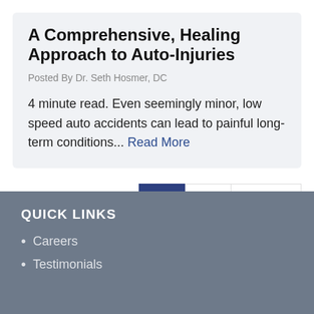A Comprehensive, Healing Approach to Auto-Injuries
Posted By Dr. Seth Hosmer, DC
4 minute read. Even seemingly minor, low speed auto accidents can lead to painful long-term conditions... Read More
1  2  Next »
QUICK LINKS
Careers
Testimonials